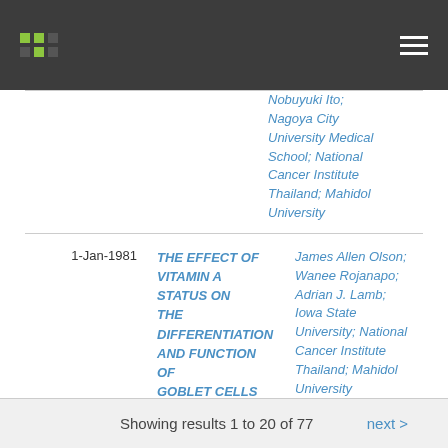Navigation header with logo and menu
Nobuyuki Ito; Nagoya City University Medical School; National Cancer Institute Thailand; Mahidol University
1-Jan-1981 | THE EFFECT OF VITAMIN A STATUS ON THE DIFFERENTIATION AND FUNCTION OF GOBLET CELLS IN THE RAT INTESTINE | James Allen Olson; Wanee Rojanapo; Adrian J. Lamb; Iowa State University; National Cancer Institute Thailand; Mahidol University
Showing results 1 to 20 of 77  next >